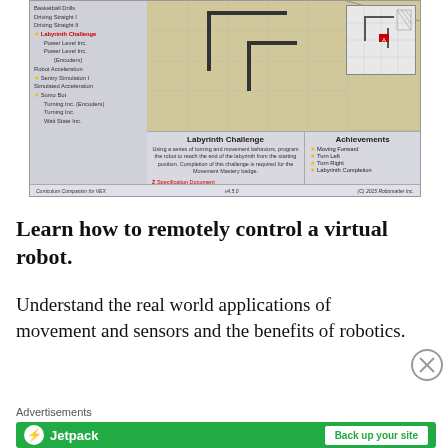[Figure (screenshot): Screenshot of Robotics Curriculum Companion for VEX software showing the Labyrinth Challenge activity with sidebar navigation, robot field view, achievements panel, and start activity button.]
Learn how to remotely control a virtual robot.
Understand the real world applications of movement and sensors and the benefits of robotics.
[Figure (infographic): Jetpack advertisement banner with logo and 'Back up your site' button on green background.]